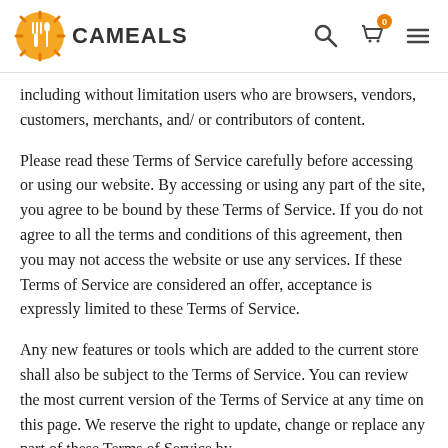CAMEALS
including without limitation users who are browsers, vendors, customers, merchants, and/ or contributors of content.
Please read these Terms of Service carefully before accessing or using our website. By accessing or using any part of the site, you agree to be bound by these Terms of Service. If you do not agree to all the terms and conditions of this agreement, then you may not access the website or use any services. If these Terms of Service are considered an offer, acceptance is expressly limited to these Terms of Service.
Any new features or tools which are added to the current store shall also be subject to the Terms of Service. You can review the most current version of the Terms of Service at any time on this page. We reserve the right to update, change or replace any part of these Terms of Service by